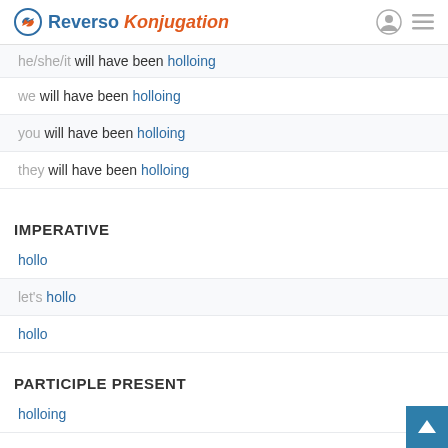Reverso Konjugation
he/she/it will have been holloing
we will have been holloing
you will have been holloing
they will have been holloing
IMPERATIVE
hollo
let's hollo
hollo
PARTICIPLE PRESENT
holloing